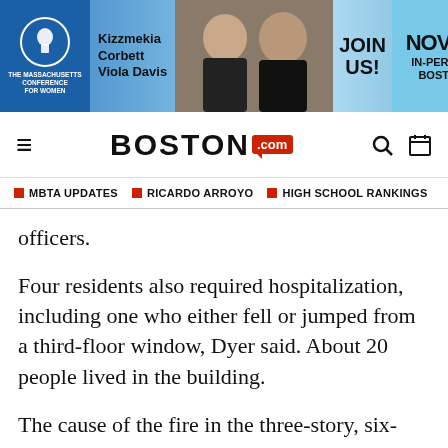[Figure (other): Advertisement banner for The Massachusetts Conference for Women featuring Kizzmekia Corbett and Viola Davis. Text reads: JOIN US! NOV 30 IN-PERSON BOSTON]
BOSTON.com
MBTA UPDATES  ■  RICARDO ARROYO  ■  HIGH SCHOOL RANKINGS
officers.
Four residents also required hospitalization, including one who either fell or jumped from a third-floor window, Dyer said. About 20 people lived in the building.
The cause of the fire in the three-story, six-unit apartment remains under investigation with the aid of the federal Bureau of Alcohol, Tobacco, Firearms, and Explosives.